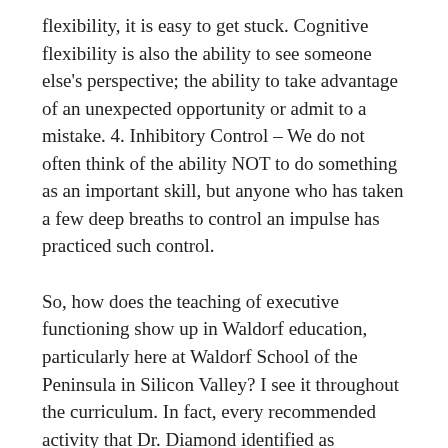flexibility, it is easy to get stuck. Cognitive flexibility is also the ability to see someone else's perspective; the ability to take advantage of an unexpected opportunity or admit to a mistake. 4. Inhibitory Control – We do not often think of the ability NOT to do something as an important skill, but anyone who has taken a few deep breaths to control an impulse has practiced such control.
So, how does the teaching of executive functioning show up in Waldorf education, particularly here at Waldorf School of the Peninsula in Silicon Valley? I see it throughout the curriculum. In fact, every recommended activity that Dr. Diamond identified as supporting the robust development of executive functioning takes place at a Waldorf School. From Early